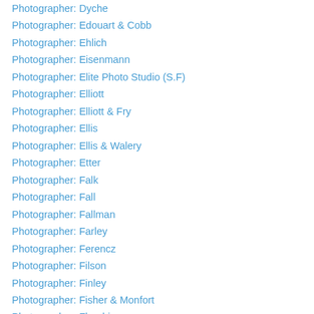Photographer: Dyche
Photographer: Edouart & Cobb
Photographer: Ehlich
Photographer: Eisenmann
Photographer: Elite Photo Studio (S.F)
Photographer: Elliott
Photographer: Elliott & Fry
Photographer: Ellis
Photographer: Ellis & Walery
Photographer: Etter
Photographer: Falk
Photographer: Fall
Photographer: Fallman
Photographer: Farley
Photographer: Ferencz
Photographer: Filson
Photographer: Finley
Photographer: Fisher & Monfort
Photographer: Flandrin
Photographer: Floten